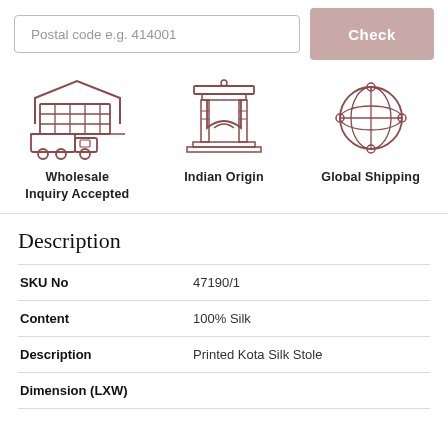Postal code e.g. 414001
Check
[Figure (illustration): Three icons: warehouse with delivery truck (Wholesale Inquiry Accepted), Indian gate monument (Indian Origin), and globe with network nodes (Global Shipping)]
Description
|  |  |
| --- | --- |
| SKU No | 47190/1 |
| Content | 100% Silk |
| Description | Printed Kota Silk Stole |
| Dimension (LXW) |  |